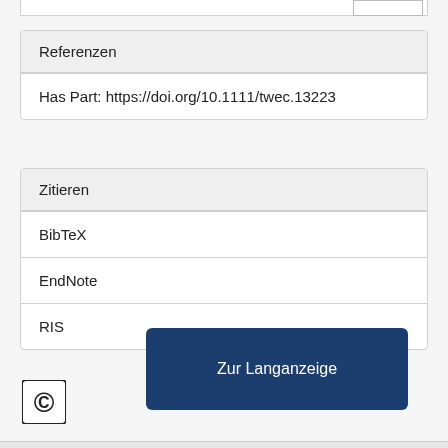Referenzen
Has Part: https://doi.org/10.1111/twec.13223
Zitieren
BibTeX
EndNote
RIS
Zur Langanzeige